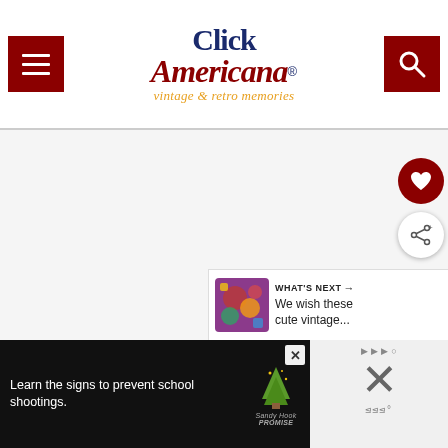Click Americana — vintage & retro memories
[Figure (screenshot): Large blank/white content area of the Click Americana website]
[Figure (infographic): Floating heart (favorite) button and share button on right side]
[Figure (infographic): What's Next banner with colorful thumbnail and text: We wish these cute vintage...]
[Figure (screenshot): Ad banner: Learn the signs to prevent school shootings. Sandy Hook Promise logo with tree. Close X button. Right side has X close button and weather widget icons.]